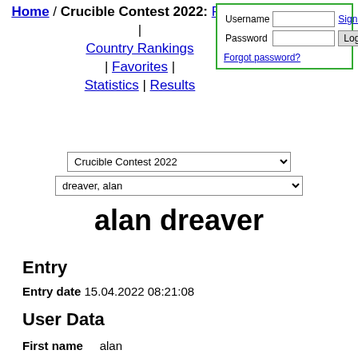Home / Crucible Contest 2022: Rankings | Country Rankings | Favorites | Statistics | Results
[Figure (screenshot): Login form with Username and Password fields, Sign up link, Login button, Forgot password link]
Crucible Contest 2022 [dropdown]
dreaver, alan [dropdown]
alan dreaver
Entry
Entry date 15.04.2022 08:21:08
User Data
First name   alan
Last name   dreaver
Country   Australia